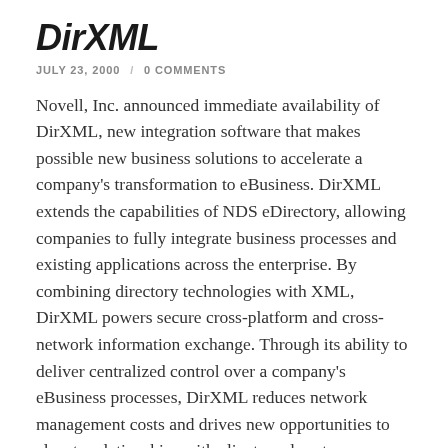DirXML
JULY 23, 2000 / 0 COMMENTS
Novell, Inc. announced immediate availability of DirXML, new integration software that makes possible new business solutions to accelerate a company's transformation to eBusiness. DirXML extends the capabilities of NDS eDirectory, allowing companies to fully integrate business processes and existing applications across the enterprise. By combining directory technologies with XML, DirXML powers secure cross-platform and cross-network information exchange. Through its ability to deliver centralized control over a company's eBusiness processes, DirXML reduces network management costs and drives new opportunities to elevate relationships with clients and customers over the unified global network — one Net. Novell is offering a complete developer program on-line to train consultants and developers in the practice of